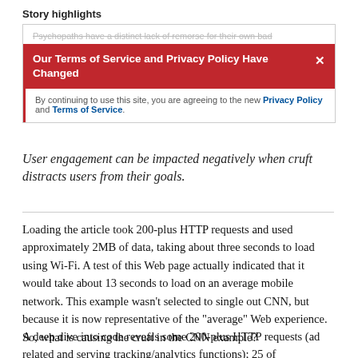Story highlights
[Figure (screenshot): Screenshot of a CNN webpage showing a modal banner with red header reading 'Our Terms of Service and Privacy Policy Have Changed' and a close button (X), with body text: 'By continuing to use this site, you are agreeing to the new Privacy Policy and Terms of Service.' Above the banner is faded strikethrough text: 'Psychopaths have a distinct lack of remorse for their own bad']
User engagement can be impacted negatively when cruft distracts users from their goals.
Loading the article took 200-plus HTTP requests and used approximately 2MB of data, taking about three seconds to load using Wi-Fi. A test of this Web page actually indicated that it would take about 13 seconds to load on an average mobile network. This example wasn't selected to single out CNN, but because it is now representative of the "average" Web experience. So, what is causing the cruft in the CNN example?
A deep dive into code reveals some 200-plus HTTP requests (ad related and serving tracking/analytics functions); 25 of